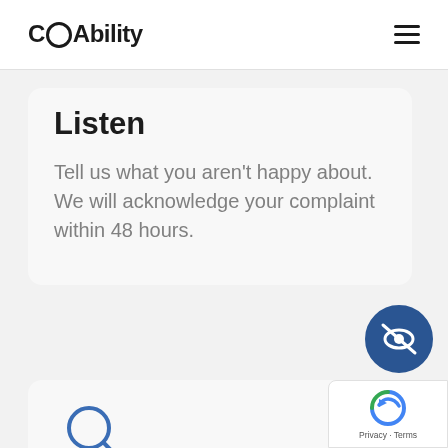COAbility
Listen
Tell us what you aren't happy about.
We will acknowledge your complaint within 48 hours.
[Figure (illustration): Dark blue circle with a crossed-out eye icon (privacy/hidden symbol)]
[Figure (illustration): Magnifying glass search icon in blue outline style]
Investigate